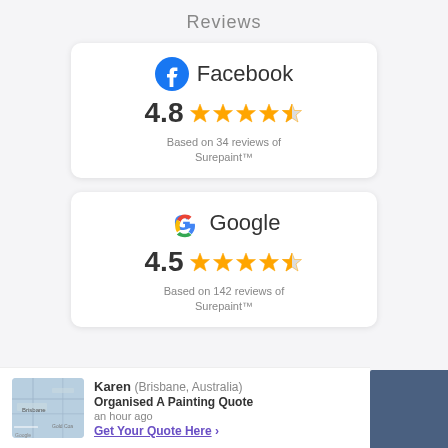Reviews
[Figure (infographic): Facebook review card showing 4.8 rating with 4.5 filled stars and half star, based on 34 reviews of Surepaint™]
[Figure (infographic): Google review card showing 4.5 rating with 4.5 filled stars and half star, based on 142 reviews of Surepaint™]
[Figure (infographic): Bottom notification bar: Karen (Brisbane, Australia) - Organised A Painting Quote - an hour ago - Get Your Quote Here link]